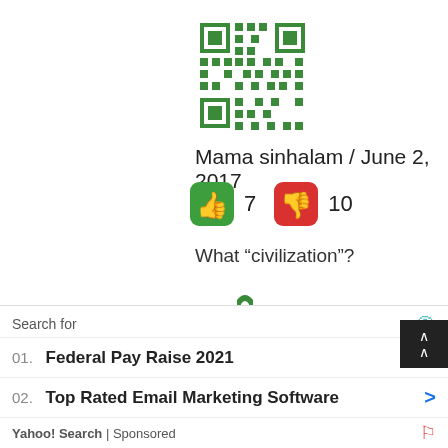[Figure (illustration): QR-code style avatar icon for user Mama sinhalam, green and white pattern, square with decorative corners]
Mama sinhalam / June 2, 2017
[Figure (illustration): Green thumbs-up icon button and red thumbs-down icon button with vote counts 7 and 10]
What “civilization”?
[Figure (illustration): Green decorative cross/flower avatar icon for user Burt]
Burt / June 2, 2017
[Figure (illustration): Partially visible green thumbs-up and red thumbs-down buttons]
Search for
01.  Federal Pay Raise 2021
02.  Top Rated Email Marketing Software
Yahoo! Search | Sponsored